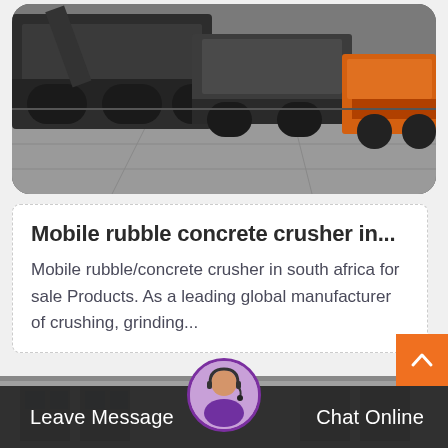[Figure (photo): Photo of large industrial mobile crushers/heavy machinery in a warehouse or outdoor facility, gray and orange colored equipment on flatbed trucks]
Mobile rubble concrete crusher in...
Mobile rubble/concrete crusher in south africa for sale Products. As a leading global manufacturer of crushing, grinding...
[Figure (photo): Partial view of a building exterior, partially visible at the bottom of the page]